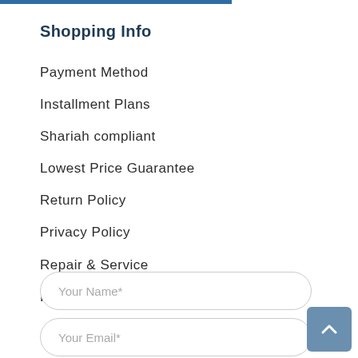Shopping Info
Payment Method
Installment Plans
Shariah compliant
Lowest Price Guarantee
Return Policy
Privacy Policy
Repair & Service
Refer a Friend
Your Name*
Your Email*